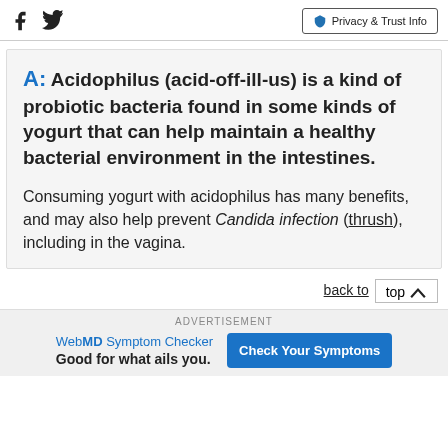Privacy & Trust Info
A: Acidophilus (acid-off-ill-us) is a kind of probiotic bacteria found in some kinds of yogurt that can help maintain a healthy bacterial environment in the intestines.
Consuming yogurt with acidophilus has many benefits, and may also help prevent Candida infection (thrush), including in the vagina.
back to top
ADVERTISEMENT
WebMD Symptom Checker
Good for what ails you.
Check Your Symptoms